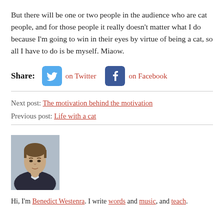But there will be one or two people in the audience who are cat people, and for those people it really doesn't matter what I do because I'm going to win in their eyes by virtue of being a cat, so all I have to do is be myself. Miaow.
Share: on Twitter  on Facebook
Next post: The motivation behind the motivation
Previous post: Life with a cat
[Figure (photo): Headshot photo of a man with brown hair in a dark suit]
Hi, I'm Benedict Westenra. I write words and music, and teach.